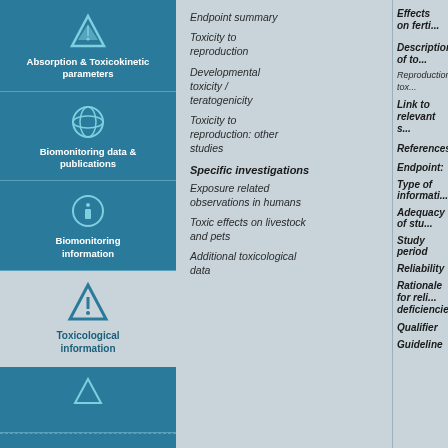[Figure (infographic): Left column with teal boxes showing icons and labels: Absorption & Toxicokinetic parameters, Biomonitoring data & publications, Biomonitoring information, Toxicological information (outside box), and two more teal boxes at bottom]
Endpoint summary
Toxicity to reproduction
Developmental toxicity / teratogenicity
Toxicity to reproduction: other studies
Specific investigations
Exposure related observations in humans
Toxic effects on livestock and pets
Additional toxicological data
Effects on ferti...
Description of to...
Reproduction tox...
Link to relevant s...
References
Endpoint:
Type of informati...
Adequacy of stu...
Study period
Reliability
Rationale for reli... deficiencies
Qualifier
Guideline